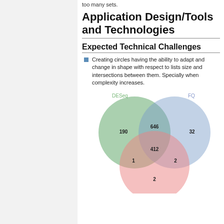too many sets.
Application Design/Tools and Technologies
Expected Technical Challenges
Creating circles having the ability to adapt and change in shape with respect to lists size and intersections between them. Specially when complexity increases.
[Figure (other): Venn diagram with three overlapping circles labeled DESeq (green, top-left), FQ (blue, top-right), and an unlabeled pink circle (bottom). Intersection values: DESeq only=190, FQ only=32, DESeq∩FQ=646, bottom-left intersection=1, bottom-right intersection=2, three-way intersection=412, bottom circle only=2.]